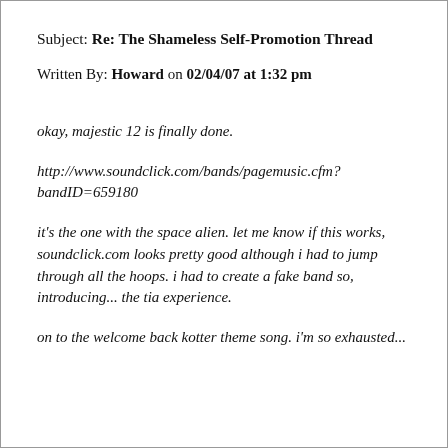Subject: Re: The Shameless Self-Promotion Thread
Written By: Howard on 02/04/07 at 1:32 pm
okay, majestic 12 is finally done.
http://www.soundclick.com/bands/pagemusic.cfm?bandID=659180
it's the one with the space alien. let me know if this works, soundclick.com looks pretty good although i had to jump through all the hoops. i had to create a fake band so, introducing... the tia experience.
on to the welcome back kotter theme song. i'm so exhausted...